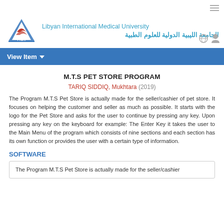Libyan International Medical University / الجامعة الليبية الدولية للعلوم الطبية
View Item
M.T.S PET STORE PROGRAM
TARIQ SIDDIQ, Mukhtara (2019)
The Program M.T.S Pet Store is actually made for the seller/cashier of pet store. It focuses on helping the customer and seller as much as possible. It starts with the logo for the Pet Store and asks for the user to continue by pressing any key. Upon pressing any key on the keyboard for example: The Enter Key it takes the user to the Main Menu of the program which consists of nine sections and each section has its own function or provides the user with a certain type of information.
SOFTWARE
The Program M.T.S Pet Store is actually made for the seller/cashier